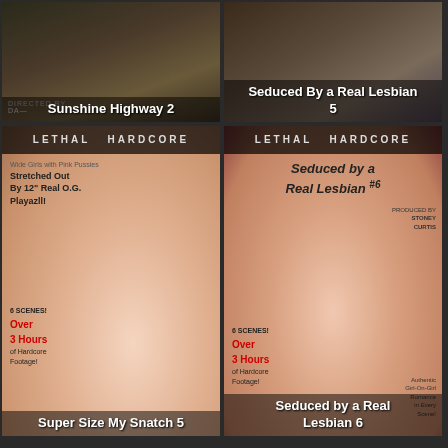[Figure (photo): DVD cover thumbnail for Sunshine Highway 2]
Sunshine Highway 2
[Figure (photo): DVD cover thumbnail for Seduced By a Real Lesbian 5]
Seduced By a Real Lesbian 5
[Figure (photo): DVD cover for Super Size My Snatch 5 (Lethal Hardcore)]
Super Size My Snatch 5
[Figure (photo): DVD cover for Seduced by a Real Lesbian 6 (Lethal Hardcore)]
Seduced by a Real Lesbian 6